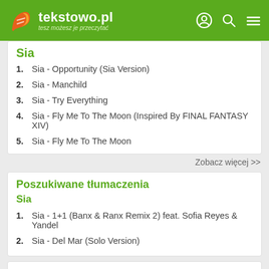tekstowo.pl – tesz możesz je przeczytać
Sia
1. Sia - Opportunity (Sia Version)
2. Sia - Manchild
3. Sia - Try Everything
4. Sia - Fly Me To The Moon (Inspired By FINAL FANTASY XIV)
5. Sia - Fly Me To The Moon
Zobacz więcej >>
Poszukiwane tłumaczenia
Sia
1. Sia - 1+1 (Banx & Ranx Remix 2) feat. Sofia Reyes & Yandel
2. Sia - Del Mar (Solo Version)
Poszukiwane teksty